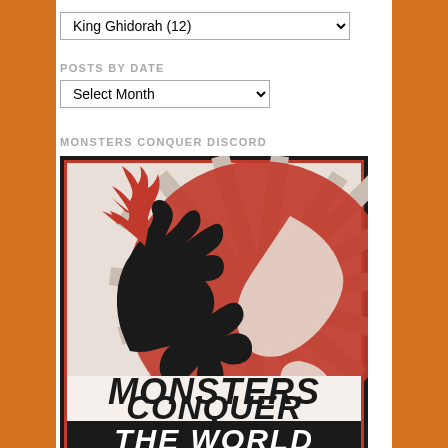King Ghidorah  (12)
POSTS BY DATE
Select Month
MONSTERS CONQUER DISCORD
[Figure (illustration): Stylized poster image of Godzilla silhouette breathing fire, standing over a red globe showing the Americas, with radiating sunburst rays in grey/white, and bold italic text reading MONSTERS CONQUER THE WORLD. Red border frame around image.]